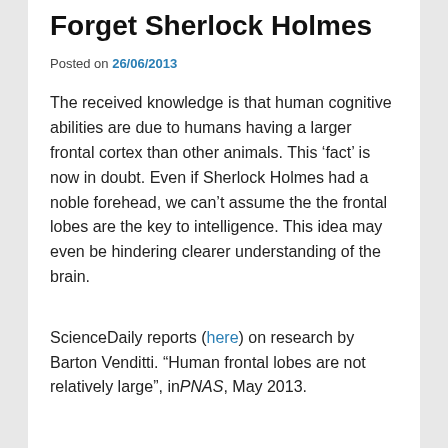Forget Sherlock Holmes
Posted on 26/06/2013
The received knowledge is that human cognitive abilities are due to humans having a larger frontal cortex than other animals. This ‘fact’ is now in doubt. Even if Sherlock Holmes had a noble forehead, we can’t assume the the frontal lobes are the key to intelligence. This idea may even be hindering clearer understanding of the brain.
ScienceDaily reports (here) on research by Barton Venditti. “Human frontal lobes are not relatively large”, in PNAS, May 2013.